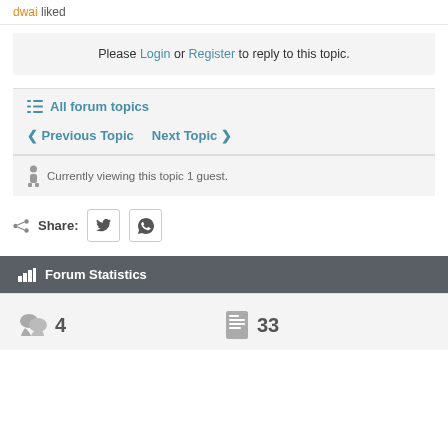dwai liked
Please Login or Register to reply to this topic.
≡ All forum topics
< Previous Topic   Next Topic >
Currently viewing this topic 1 guest.
Share:
Forum Statistics
4   33